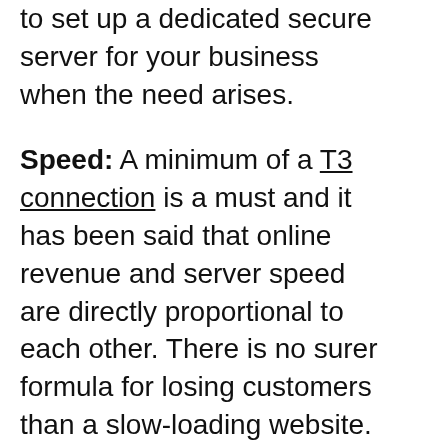to set up a dedicated secure server for your business when the need arises.
Speed: A minimum of a T3 connection is a must and it has been said that online revenue and server speed are directly proportional to each other. There is no surer formula for losing customers than a slow-loading website. In the cutthroat, competitive work of e-commerce, speed is always something to keep an eye on while choosing a web host.
Space: While space is an important factor, it must be said that it is an often overrated one. Most websites do not need more than